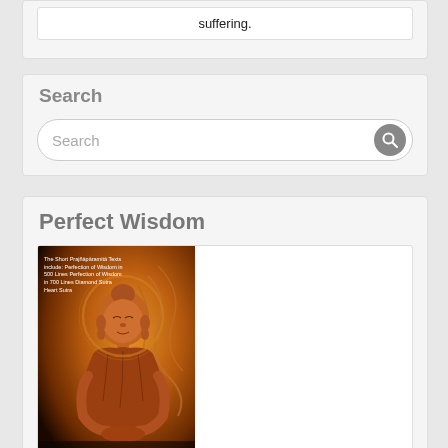suffering.
Search
Search
Perfect Wisdom
[Figure (photo): Book cover showing a golden Buddha statue with ornate decorative background. Text on cover reads: 'The Short Prajnaparamita Texts include: Perfection of Wisdom in 500 Lines, Perfection of Wisdom in 700 Lines, Diamond Sutra, Heart Sutra']